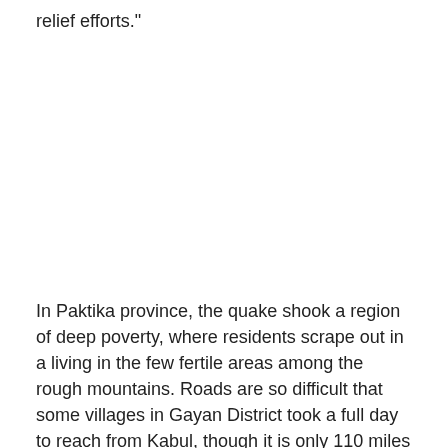relief efforts."
In Paktika province, the quake shook a region of deep poverty, where residents scrape out in a living in the few fertile areas among the rough mountains. Roads are so difficult that some villages in Gayan District took a full day to reach from Kabul, though it is only 110 miles away.